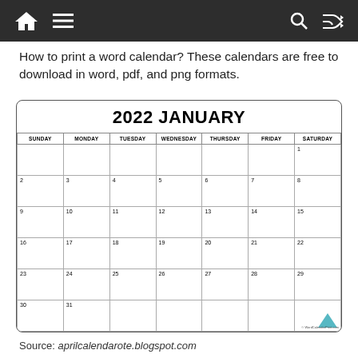Navigation bar with home, menu, search, and shuffle icons
How to print a word calendar? These calendars are free to download in word, pdf, and png formats.
[Figure (other): January 2022 calendar grid showing all days of the month with Sunday through Saturday columns]
Source: aprilcalendarote.blogspot.com